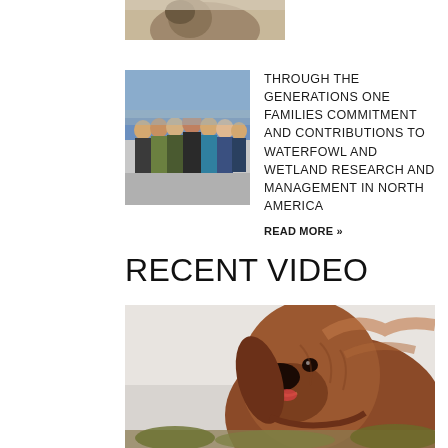[Figure (photo): Partial photo of an animal (appears to be a dog or similar) cropped at top of page]
[Figure (photo): Group photo of several people standing together outdoors in casual/hunting attire]
THROUGH THE GENERATIONS ONE FAMILIES COMMITMENT AND CONTRIBUTIONS TO WATERFOWL AND WETLAND RESEARCH AND MANAGEMENT IN NORTH AMERICA
READ MORE »
RECENT VIDEO
[Figure (photo): Close-up photo of a brown/auburn Irish Setter dog looking upward, wearing a brown collar, with foliage visible at bottom]